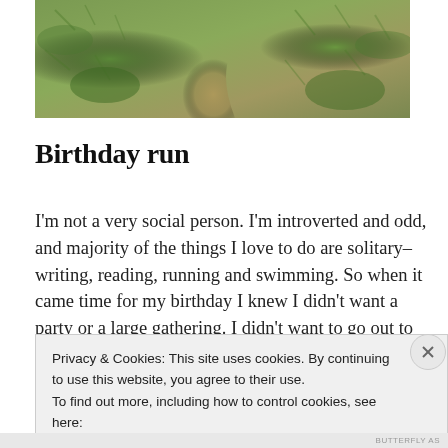[Figure (photo): Outdoor trail path with green grass and vegetation on both sides, photographed from above looking down the narrow dirt path]
Birthday run
I'm not a very social person. I'm introverted and odd, and majority of the things I love to do are solitary–writing, reading, running and swimming. So when it came time for my birthday I knew I didn't want a party or a large gathering. I didn't want to go out to eat or go to [...]
Privacy & Cookies: This site uses cookies. By continuing to use this website, you agree to their use.
To find out more, including how to control cookies, see here:
Cookie Policy
Close and accept